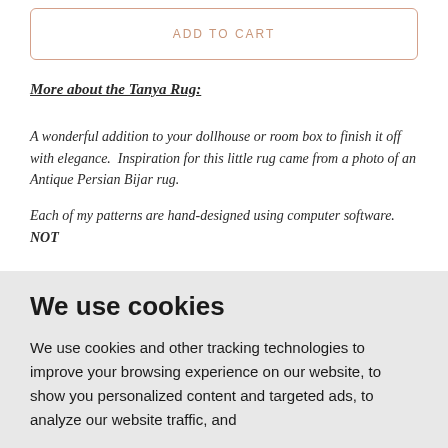ADD TO CART
More about the Tanya Rug:
A wonderful addition to your dollhouse or room box to finish it off with elegance.  Inspiration for this little rug came from a photo of an Antique Persian Bijar rug.
Each of my patterns are hand-designed using computer software.  NOT
We use cookies
We use cookies and other tracking technologies to improve your browsing experience on our website, to show you personalized content and targeted ads, to analyze our website traffic, and